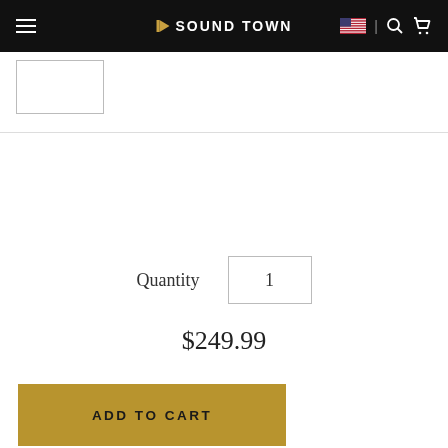SOUND TOWN
[Figure (other): Small product thumbnail image placeholder with border]
Quantity  1
$249.99
ADD TO CART
DESCRIPTION   FEATURES   SPECIFICATIONS